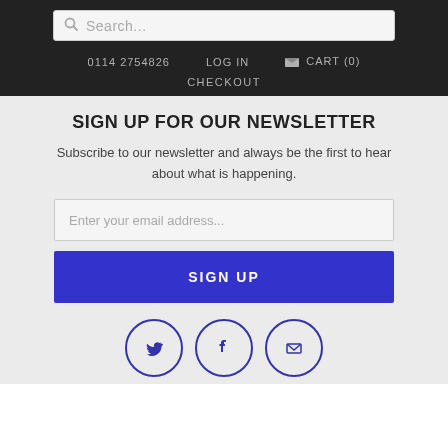Search...  0114 2754826  LOG IN  CART (0)  CHECKOUT
SIGN UP FOR OUR NEWSLETTER
Subscribe to our newsletter and always be the first to hear about what is happening.
Enter your email address...
SIGN UP
[Figure (illustration): Three circular social media icons side by side: Twitter bird icon, Facebook 'f' icon, and email envelope icon, all outlined in dark blue.]
STORE LOCATIONS
Orchard Square